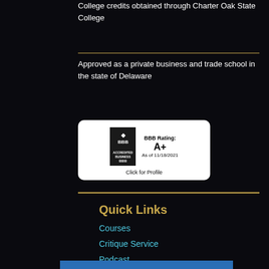College credits obtained through Charter Oak State College
Approved as a private business and trade school in the state of Delaware
[Figure (logo): BBB Accredited Business badge showing BBB Rating: A+ As of 11/18/2021. Click for Profile.]
Quick Links
Courses
Critique Service
Podcast
Bookstore
Contact Us